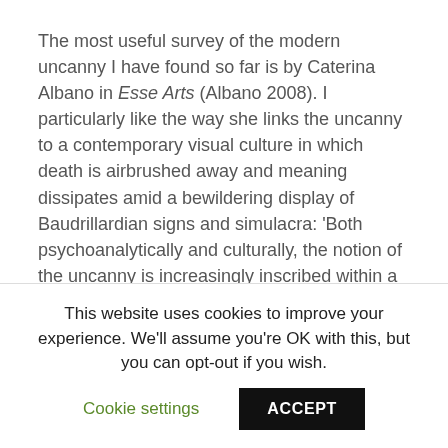The most useful survey of the modern uncanny I have found so far is by Caterina Albano in Esse Arts (Albano 2008). I particularly like the way she links the uncanny to a contemporary visual culture in which death is airbrushed away and meaning dissipates amid a bewildering display of Baudrillardian signs and simulacra: 'Both psychoanalytically and culturally, the notion of the uncanny is increasingly inscribed within a discourse that invests estrangement, alienation and the other. Julia Kristeva poignantly underlines the experience of strangeness and depersonalisation as integral to the construction of contemporary subjectivity' (Albano 2008). This is a very postmodern condition.
This website uses cookies to improve your experience. We'll assume you're OK with this, but you can opt-out if you wish.